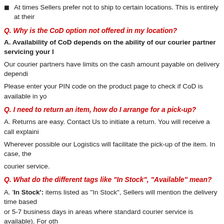At times Sellers prefer not to ship to certain locations. This is entirely at their
Q. Why is the CoD option not offered in my location?
A. Availability of CoD depends on the ability of our courier partner servicing your l
Our courier partners have limits on the cash amount payable on delivery dependi
Please enter your PIN code on the product page to check if CoD is available in yo
Q. I need to return an item, how do I arrange for a pick-up?
A. Returns are easy. Contact Us to initiate a return. You will receive a call explaini
Wherever possible our Logistics will facilitate the pick-up of the item. In case, the
courier service.
Q. What do the different tags like "In Stock", "Available" mean?
A. 'In Stock': items listed as "In Stock", Sellers will mention the delivery time based or 5-7 business days in areas where standard courier service is available). For oth Service which may take 1-2 weeks depending on the location.
'Available': The Seller might not have the item in stock but can procure it when an
item. The delivery time will depend on the estimated procurement time and the